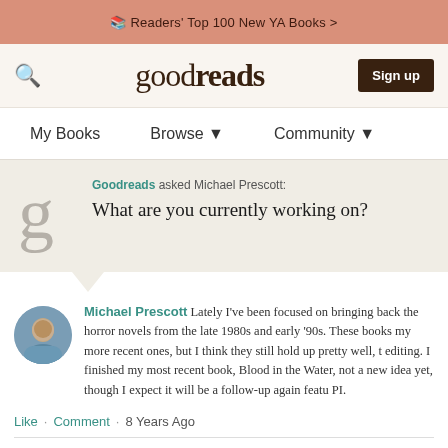Readers' Top 100 New YA Books >
[Figure (screenshot): Goodreads navigation bar with search icon, Goodreads logo, and Sign up button]
My Books   Browse   Community
Goodreads asked Michael Prescott: What are you currently working on?
Michael Prescott Lately I've been focused on bringing back the horror novels from the late 1980s and early '90s. These books my more recent ones, but I think they still hold up pretty well, t editing. I finished my most recent book, Blood in the Water, not a new idea yet, though I expect it will be a follow-up again featu PI.
Like · Comment · 8 Years Ago